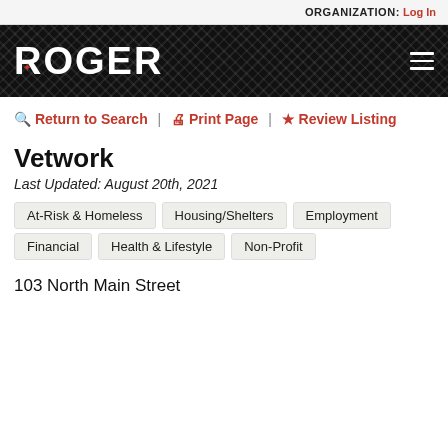ORGANIZATION: Log In
[Figure (logo): ROGER logo — white bold text on black herringbone patterned background with hamburger menu icon]
🔍 Return to Search | 🖨 Print Page | ⭐ Review Listing
Vetwork
Last Updated: August 20th, 2021
At-Risk & Homeless
Housing/Shelters
Employment
Financial
Health & Lifestyle
Non-Profit
103 North Main Street